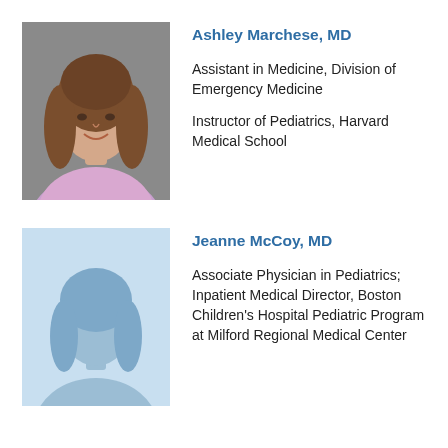[Figure (photo): Headshot photo of Ashley Marchese, MD — a woman with long brown hair, smiling, wearing a pink top, against a gray background]
Ashley Marchese, MD
Assistant in Medicine, Division of Emergency Medicine
Instructor of Pediatrics, Harvard Medical School
[Figure (photo): Placeholder silhouette image with light blue background representing Jeanne McCoy, MD]
Jeanne McCoy, MD
Associate Physician in Pediatrics; Inpatient Medical Director, Boston Children's Hospital Pediatric Program at Milford Regional Medical Center